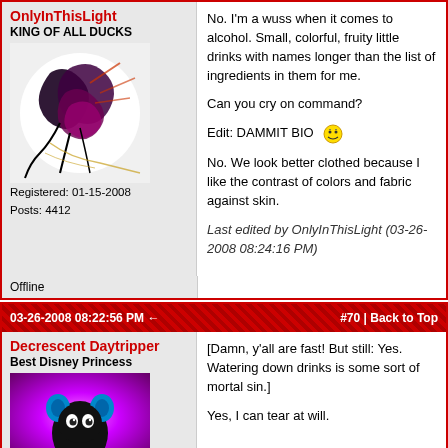OnlyInThisLight
KING OF ALL DUCKS
[Figure (illustration): Dark artistic avatar image with black and purple swirling figures on white background]
Registered: 01-15-2008
Posts: 4412
No.  I'm a wuss when it comes to alcohol.  Small, colorful, fruity little drinks with names longer than the list of ingredients in them for me.

Can you cry on command?

Edit: DAMMIT BIO

No.  We look better clothed because I like the contrast of colors and fabric against skin.

Last edited by OnlyInThisLight (03-26-2008 08:24:16 PM)
Offline
03-26-2008 08:22:56 PM    #70 | Back to Top
Decrescent Daytripper
Best Disney Princess
[Figure (illustration): Colorful cartoon avatar with pink/purple background and a black cartoon character with blue ears]
[Damn, y'all are fast!  But still: Yes. Watering down drinks is some sort of mortal sin.]

Yes, I can tear at will.